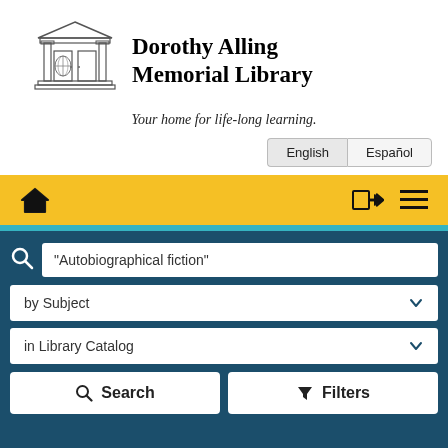[Figure (logo): Dorothy Alling Memorial Library building logo — line drawing of a classical library building with columns and doors, globe visible through the doors]
Dorothy Alling Memorial Library
Your home for life-long learning.
English | Español
[Figure (screenshot): Navigation bar with home icon, login/arrow icon, and hamburger menu icon on yellow background]
"Autobiographical fiction"
by Subject
in Library Catalog
Search   Filters